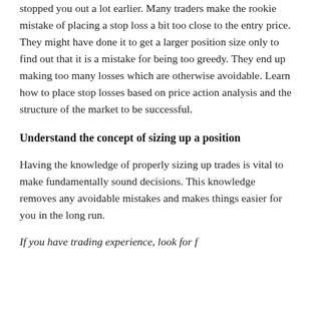stopped you out a lot earlier. Many traders make the rookie mistake of placing a stop loss a bit too close to the entry price. They might have done it to get a larger position size only to find out that it is a mistake for being too greedy. They end up making too many losses which are otherwise avoidable. Learn how to place stop losses based on price action analysis and the structure of the market to be successful.
Understand the concept of sizing up a position
Having the knowledge of properly sizing up trades is vital to make fundamentally sound decisions. This knowledge removes any avoidable mistakes and makes things easier for you in the long run.
If you have trading experience, look for f...